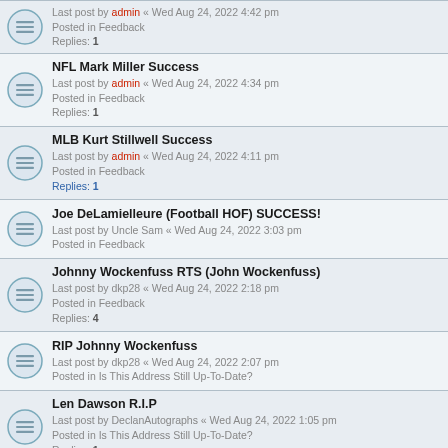Last post by admin « Wed Aug 24, 2022 4:42 pm
Posted in Feedback
Replies: 1
NFL Mark Miller Success
Last post by admin « Wed Aug 24, 2022 4:34 pm
Posted in Feedback
Replies: 1
MLB Kurt Stillwell Success
Last post by admin « Wed Aug 24, 2022 4:11 pm
Posted in Feedback
Replies: 1
Joe DeLamielleure (Football HOF) SUCCESS!
Last post by Uncle Sam « Wed Aug 24, 2022 3:03 pm
Posted in Feedback
Johnny Wockenfuss RTS (John Wockenfuss)
Last post by dkp28 « Wed Aug 24, 2022 2:18 pm
Posted in Feedback
Replies: 4
RIP Johnny Wockenfuss
Last post by dkp28 « Wed Aug 24, 2022 2:07 pm
Posted in Is This Address Still Up-To-Date?
Len Dawson R.I.P
Last post by DeclanAutographs « Wed Aug 24, 2022 1:05 pm
Posted in Is This Address Still Up-To-Date?
Replies: 1
NFL Archie Manning Success
Last post by Cody_P « Wed Aug 24, 2022 9:45 am
Posted in Feedback